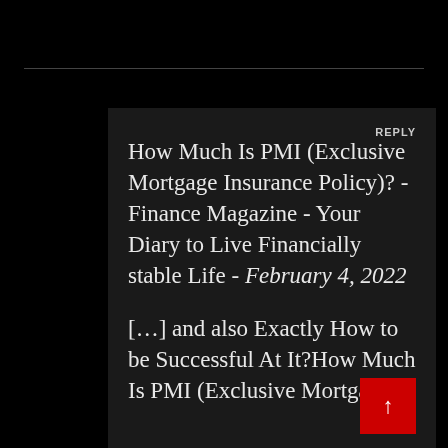How Much Is PMI (Exclusive Mortgage Insurance Policy)? - Finance Magazine - Your Diary to Live Financially stable Life - February 4, 2022
[…] and also Exactly How to be Successful At It?How Much Is PMI (Exclusive Mortgage